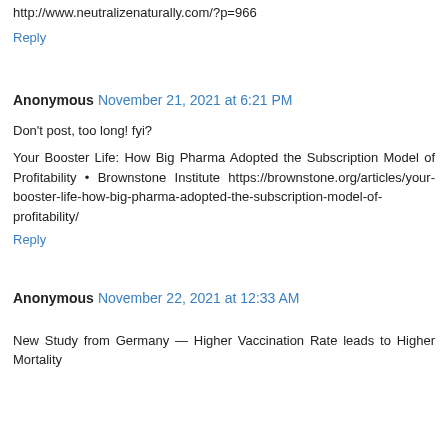http://www.neutralizenaturally.com/?p=966
Reply
Anonymous  November 21, 2021 at 6:21 PM
Don't post, too long! fyi?
Your Booster Life: How Big Pharma Adopted the Subscription Model of Profitability • Brownstone Institute https://brownstone.org/articles/your-booster-life-how-big-pharma-adopted-the-subscription-model-of-profitability/
Reply
Anonymous  November 22, 2021 at 12:33 AM
New Study from Germany — Higher Vaccination Rate leads to Higher Mortality